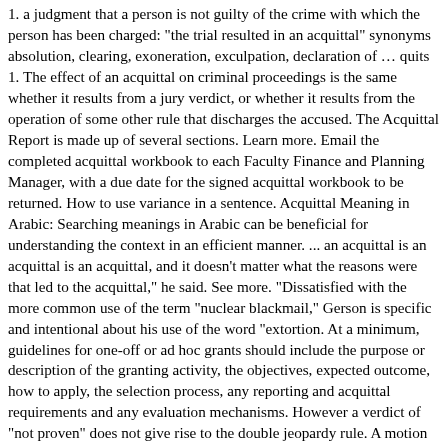1. a judgment that a person is not guilty of the crime with which the person has been charged: "the trial resulted in an acquittal" synonyms absolution, clearing, exoneration, exculpation, declaration of … quits 1. The effect of an acquittal on criminal proceedings is the same whether it results from a jury verdict, or whether it results from the operation of some other rule that discharges the accused. The Acquittal Report is made up of several sections. Learn more. Email the completed acquittal workbook to each Faculty Finance and Planning Manager, with a due date for the signed acquittal workbook to be returned. How to use variance in a sentence. Acquittal Meaning in Arabic: Searching meanings in Arabic can be beneficial for understanding the context in an efficient manner. ... an acquittal is an acquittal is an acquittal, and it doesn't matter what the reasons were that led to the acquittal," he said. See more. "Dissatisfied with the more common use of the term "nuclear blackmail," Gerson is specific and intentional about his use of the word "extortion. At a minimum, guidelines for one-off or ad hoc grants should include the purpose or description of the granting activity, the objectives, expected outcome, how to apply, the selection process, any reporting and acquittal requirements and any evaluation mechanisms. However a verdict of "not proven" does not give rise to the double jeopardy rule. A motion for judgment of acquittal rests on the claim that the … The Sessions Court today granted a request by the prosecution to give a discharge not amounting to an acquittal to Datuk Seri Najib Razak's step-son, Riza Aziz, who was charged with five counts of money laundering amounting to US$248 million (RM1.25 billion), allegedly misappropriated from 1Malaysia Development Bhd (1MDB) funds. Judgment that a criminal defendant has not been proven guilty beyond a reasonable doubt. Continuation: University of New Forth...